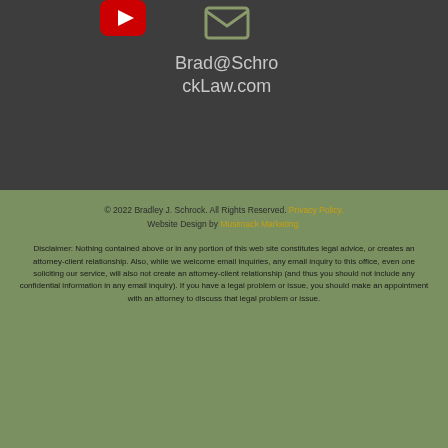[Figure (logo): YouTube play button icon (red) in top dark section]
[Figure (illustration): Email envelope icon (olive/green) in top dark section]
Brad@SchrockLaw.com
© 2022 Bradley J. Schrock. All Rights Reserved. Privacy Policy. Website Design by Musimack Marketing.
Disclaimer: Nothing contained above or in any portion of this web site constitutes legal advice, or creates an attorney-client relationship. Also, while we welcome email inquiries, any email inquiry to this office, even one soliciting our service, will also not create an attorney-client relationship (and thus you should not include any confidential information in any email inquiry). If you have a legal problem or issue, you should make an appointment with an attorney to discuss that legal problem or issue.